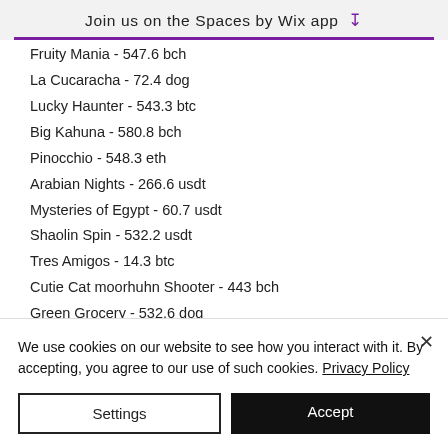Join us on the Spaces by Wix app ↓
Fruity Mania - 547.6 bch
La Cucaracha - 72.4 dog
Lucky Haunter - 543.3 btc
Big Kahuna - 580.8 bch
Pinocchio - 548.3 eth
Arabian Nights - 266.6 usdt
Mysteries of Egypt - 60.7 usdt
Shaolin Spin - 532.2 usdt
Tres Amigos - 14.3 btc
Cutie Cat moorhuhn Shooter - 443 bch
Green Grocery - 532.6 dog
The Slotfather 2 - 473.3 ltc
Wild Fire Riches - 324.1 usdt
We use cookies on our website to see how you interact with it. By accepting, you agree to our use of such cookies. Privacy Policy
Settings | Accept